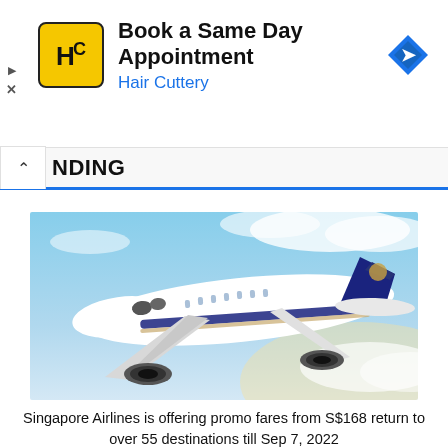[Figure (other): Hair Cuttery advertisement banner with logo, text 'Book a Same Day Appointment', 'Hair Cuttery', and a blue navigation arrow icon]
NDING
[Figure (photo): Singapore Airlines aircraft in flight against a blue sky with clouds, white fuselage with blue tail fin]
Singapore Airlines is offering promo fares from S$168 return to over 55 destinations till Sep 7, 2022